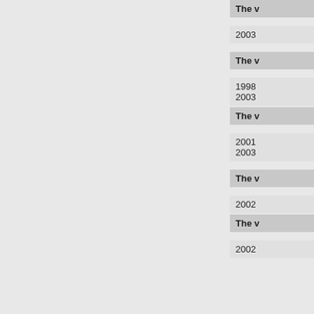The v
2003
The v
1998
2003
The v
2001
2003
The v
2002
The v
2002